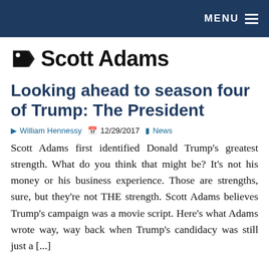MENU
Scott Adams
Looking ahead to season four of Trump: The President
William Hennessy  12/29/2017  News
Scott Adams first identified Donald Trump's greatest strength. What do you think that might be? It's not his money or his business experience. Those are strengths, sure, but they're not THE strength. Scott Adams believes Trump's campaign was a movie script. Here's what Adams wrote way, way back when Trump's candidacy was still just a [...]